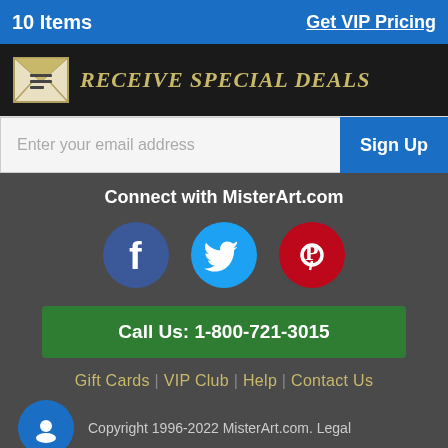10 Items   Get VIP Pricing
[Figure (infographic): Receive Special Deals email signup banner with envelope icon]
Enter your email address   Sign Up
Connect with MisterArt.com
[Figure (infographic): Facebook, Twitter, and Pinterest social media circle icons]
Call Us: 1-800-721-3015
Gift Cards | VIP Club | Help | Contact Us
Copyright 1996-2022 MisterArt.com. Legal